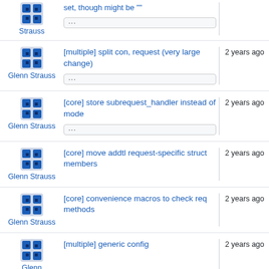Glenn Strauss | set, though might be "" | ...
Glenn Strauss | [multiple] split con, request (very large change) | ... | 2 years ago
Glenn Strauss | [core] store subrequest_handler instead of mode | ... | 2 years ago
Glenn Strauss | [core] move addtl request-specific struct members | 2 years ago
Glenn Strauss | [core] convenience macros to check req methods | 2 years ago
Glenn Strauss | [multiple] generic config | 2 years ago